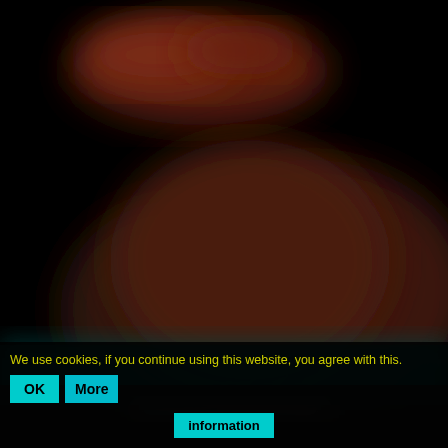[Figure (photo): Blurred dark background image with dark reddish/brown blurred shapes and a dark teal/green band across the lower middle portion. Very low visibility due to blur and darkness.]
We use cookies, if you continue using this website, you agree with this.
OK
More
information